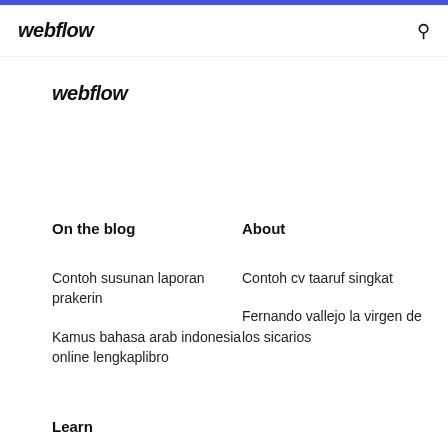webflow
webflow
On the blog
About
Contoh susunan laporan prakerin
Contoh cv taaruf singkat
Kamus bahasa arab indonesia online lengkaplibro
Fernando vallejo la virgen de los sicarios
Learn